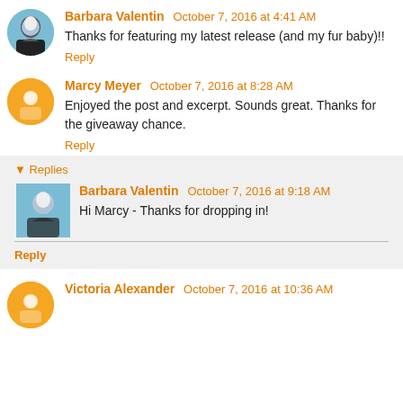Barbara Valentin October 7, 2016 at 4:41 AM
Thanks for featuring my latest release (and my fur baby)!!
Reply
Marcy Meyer October 7, 2016 at 8:28 AM
Enjoyed the post and excerpt. Sounds great. Thanks for the giveaway chance.
Reply
Replies
Barbara Valentin October 7, 2016 at 9:18 AM
Hi Marcy - Thanks for dropping in!
Reply
Victoria Alexander October 7, 2016 at 10:36 AM